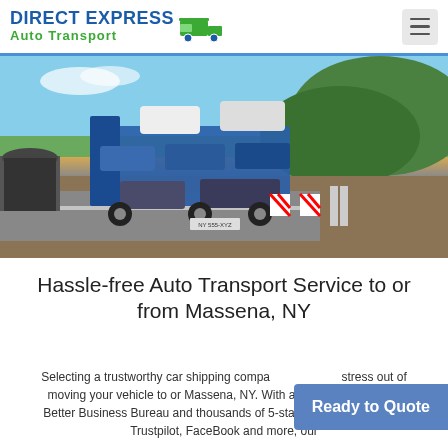DIRECT EXPRESS Auto Transport
[Figure (photo): A car transport truck carrying multiple vehicles on a highway with green hills and a tunnel in the background.]
Hassle-free Auto Transport Service to or from Massena, NY
Selecting a trustworthy car shipping company takes the stress out of moving your vehicle to or Massena, NY. With an A+ rating from the Better Business Bureau and thousands of 5-star reviews on Google, Trustpilot, FaceBook and more, our